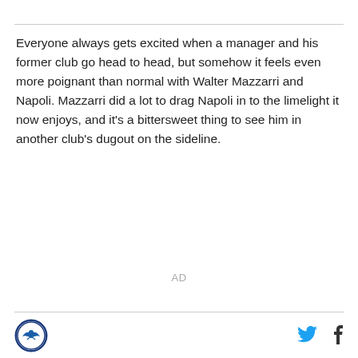Everyone always gets excited when a manager and his former club go head to head, but somehow it feels even more poignant than normal with Walter Mazzarri and Napoli. Mazzarri did a lot to drag Napoli in to the limelight it now enjoys, and it's a bittersweet thing to see him in another club's dugout on the sideline.
AD
[Figure (logo): Circular logo with blue border, bird/wing design in center on white/blue background]